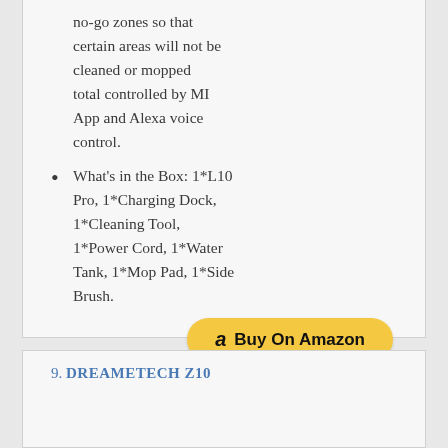no-go zones so that certain areas will not be cleaned or mopped total controlled by MI App and Alexa voice control.
What's in the Box: 1*L10 Pro, 1*Charging Dock, 1*Cleaning Tool, 1*Power Cord, 1*Water Tank, 1*Mop Pad, 1*Side Brush.
[Figure (other): Buy On Amazon button with Amazon logo]
9. DREAMETECH Z10